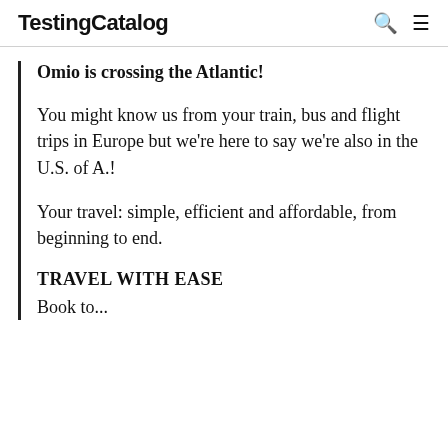TestingCatalog
Omio is crossing the Atlantic!
You might know us from your train, bus and flight trips in Europe but we're here to say we're also in the U.S. of A.!
Your travel: simple, efficient and affordable, from beginning to end.
TRAVEL WITH EASE
Book to...